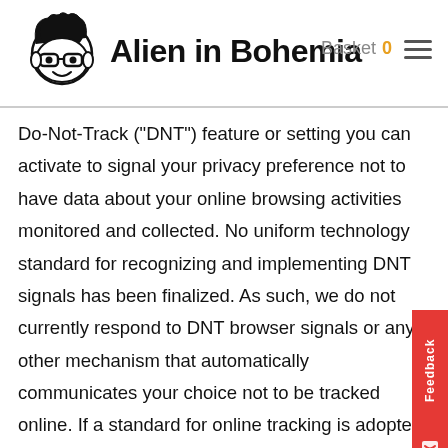Alien in Bohemia — Basket 0
Do-Not-Track ("DNT") feature or setting you can activate to signal your privacy preference not to have data about your online browsing activities monitored and collected. No uniform technology standard for recognizing and implementing DNT signals has been finalized. As such, we do not currently respond to DNT browser signals or any other mechanism that automatically communicates your choice not to be tracked online. If a standard for online tracking is adopted that we must follow in the future, we will inform you about that practice in a revised version of this Privacy Policy./Most web browsers and some mobile operating systems [and our mobile applications] include a Do-Not-Track ("DNT") feature or setting you can activate to signal your privacy preference not to have data about your online browsing activities monitored and collected.